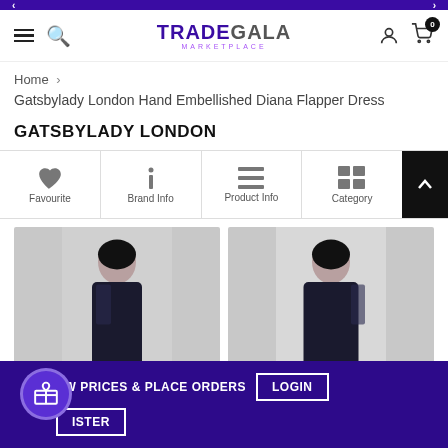TRADEGALA MARKETPLACE
Home > Gatsbylady London Hand Embellished Diana Flapper Dress
GATSBYLADY LONDON
[Figure (screenshot): Icon navigation row with Favourite (heart icon), Brand Info (info icon), Product Info (list icon), Category (grid icon)]
[Figure (photo): Two product photos of a model wearing a black flapper dress, side by side]
EW PRICES & PLACE ORDERS LOGIN ISTER